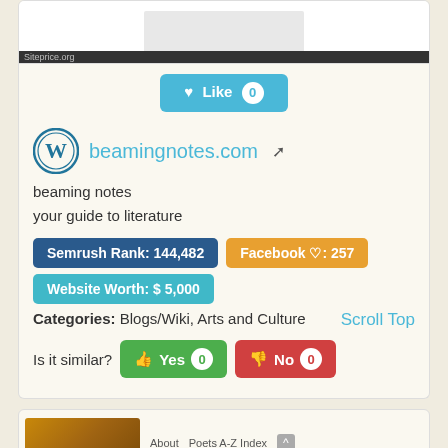[Figure (screenshot): Website screenshot thumbnail with siteprice.org watermark bar]
♥ Like 0
beamingnotes.com
beaming notes
your guide to literature
Semrush Rank: 144,482
Facebook ♡: 257
Website Worth: $ 5,000
Categories: Blogs/Wiki, Arts and Culture
Scroll Top
Is it similar?  Yes 0   No 0
[Figure (screenshot): Bottom card showing partial website screenshot with About, Poets A-Z Index navigation]